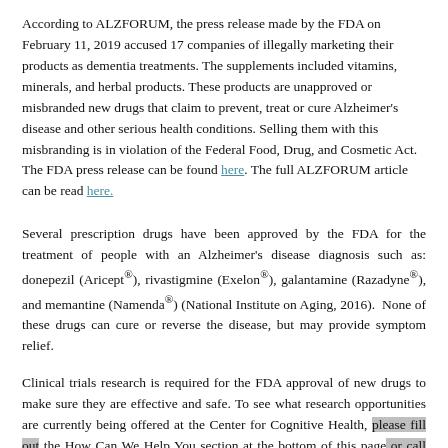According to ALZFORUM, the press release made by the FDA on February 11, 2019 accused 17 companies of illegally marketing their products as dementia treatments. The supplements included vitamins, minerals, and herbal products. These products are unapproved or misbranded new drugs that claim to prevent, treat or cure Alzheimer's disease and other serious health conditions. Selling them with this misbranding is in violation of the Federal Food, Drug, and Cosmetic Act. The FDA press release can be found here. The full ALZFORUM article can be read here.
Several prescription drugs have been approved by the FDA for the treatment of people with an Alzheimer's disease diagnosis such as: donepezil (Aricept®), rivastigmine (Exelon®), galantamine (Razadyne®), and memantine (Namenda®) (National Institute on Aging, 2016). None of these drugs can cure or reverse the disease, but may provide symptom relief.
Clinical trials research is required for the FDA approval of new drugs to make sure they are effective and safe. To see what research opportunities are currently being offered at the Center for Cognitive Health, please fill out the How Can We Help You section at the bottom of this page or call (503) 548-0809. You may meet the criteria needed to help us test the efficacy of new drugs.